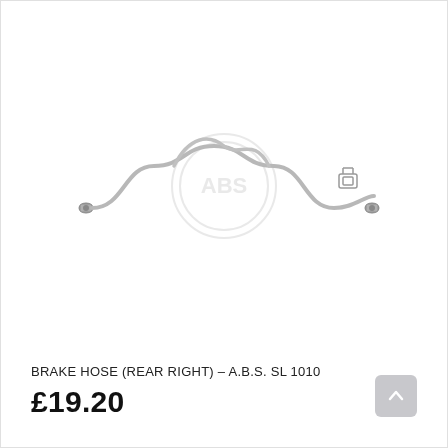[Figure (illustration): Product photo of a brake hose (rear right) - A.B.S. SL 1010. The hose is a long curved metal brake line with connectors at both ends and a small bracket clip, with a faint ABS brand watermark in the center.]
BRAKE HOSE (REAR RIGHT) – A.B.S. SL 1010
£19.20